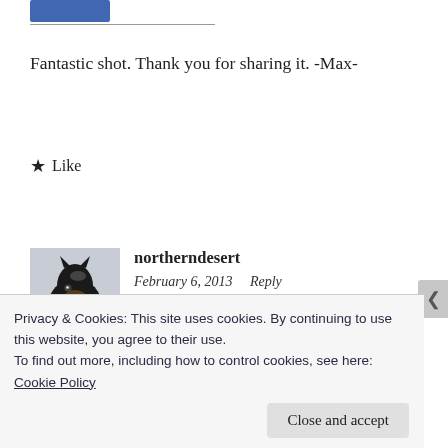[Figure (logo): Blue Facebook-style logo/button at top left]
Fantastic shot. Thank you for sharing it. -Max-
★ Like
[Figure (photo): Avatar photo of a dark horse face close-up in a snowy setting]
northerndesert
February 6, 2013   Reply
Wonderful photo. I think it is great when
Privacy & Cookies: This site uses cookies. By continuing to use this website, you agree to their use.
To find out more, including how to control cookies, see here:
Cookie Policy
Close and accept